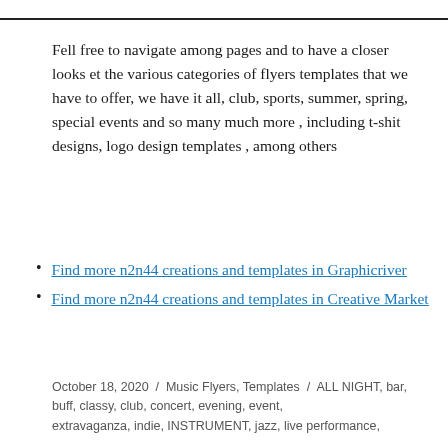Fell free to navigate among pages and to have a closer looks et the various categories of flyers templates that we have to offer, we have it all, club, sports, summer, spring, special events and so many much more , including t-shit designs, logo design templates , among others
Find more n2n44 creations and templates in Graphicriver
Find more n2n44 creations and templates in Creative Market
October 18, 2020 / Music Flyers, Templates / ALL NIGHT, bar, buff, classy, club, concert, evening, event, extravaganza, indie, INSTRUMENT, jazz, live performance,